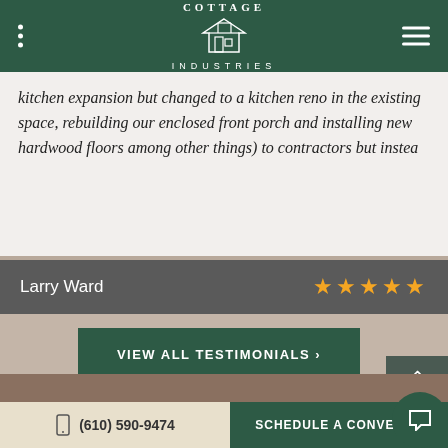COTTAGE INDUSTRIES
kitchen expansion but changed to a kitchen reno in the existing space, rebuilding our enclosed front porch and installing new hardwood floors among other things) to contractors but instea
Larry Ward ★★★★★
VIEW ALL TESTIMONIALS ›
(610) 590-9474   SCHEDULE A CONVERSA